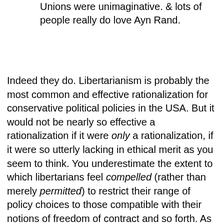Unions were unimaginative. & lots of people really do love Ayn Rand.
Indeed they do. Libertarianism is probably the most common and effective rationalization for conservative political policies in the USA. But it would not be nearly so effective a rationalization if it were only a rationalization, if it were so utterly lacking in ethical merit as you seem to think. You underestimate the extent to which libertarians feel compelled (rather than merely permitted) to restrict their range of policy choices to those compatible with their notions of freedom of contract and so forth. As much as you might wish it otherwise, the application of basic facts and logic to libertarian ethical principles is not likely to lead to their outright downfall. Instead, it is likely to lead to the mutualist “market anarchism” of Kevin